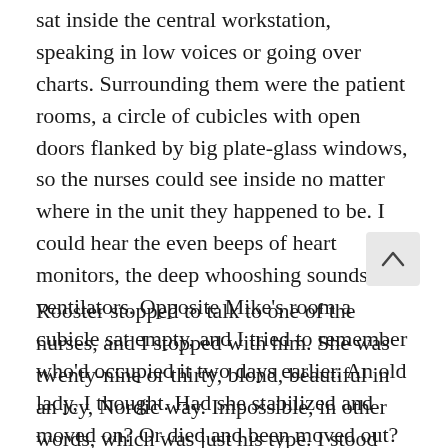sat inside the central workstation, speaking in low voices or going over charts. Surrounding them were the patient rooms, a circle of cubicles with open doors flanked by big plate-glass windows, so the nurses could see inside no matter where in the unit they happened to be. I could hear the even beeps of heart monitors, the deep whooshing sounds of ventilators. Opposite Mike's room a cubicle sat empty, and I tried to remember who'd occupied it two days earlier. An old lady, I thought. Had she stabilized and moved on? Or died and been moved out?
Rooster stopped to talk to one of the nurses, and I stopped with him. She was twenty-nine or thirty, blond, beautiful in an icy, Nordic way. Impossible, in other words, which was just his type. I stood behind him, smiling a little whenever she looked my way. The nurses knew who each of us was